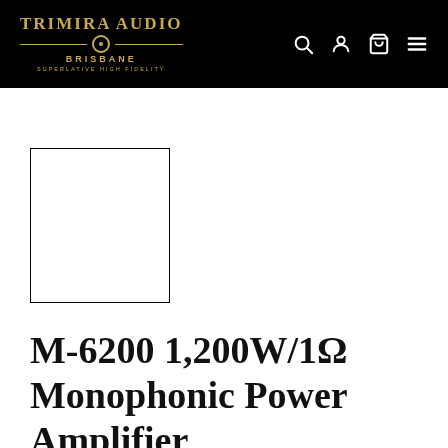TRIMIRA AUDIO — BRISBANE — SUPERLATIVE HIGH FIDELITY
[Figure (photo): Product image placeholder — white square with black border]
M-6200 1,200W/1Ω Monophonic Power Amplifier